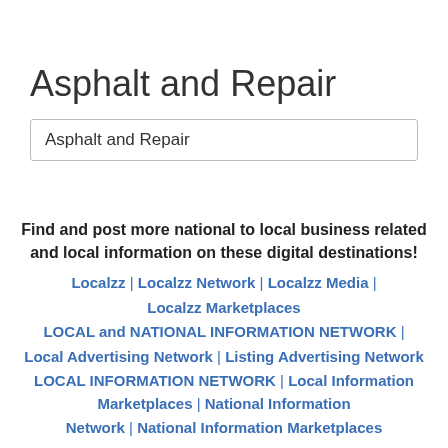Asphalt and Repair
Asphalt and Repair
Find and post more national to local business related and local information on these digital destinations!
Localzz | Localzz Network | Localzz Media | Localzz Marketplaces
LOCAL and NATIONAL INFORMATION NETWORK | Local Advertising Network | Listing Advertising Network
LOCAL INFORMATION NETWORK | Local Information Marketplaces | National Information Network | National Information Marketplaces